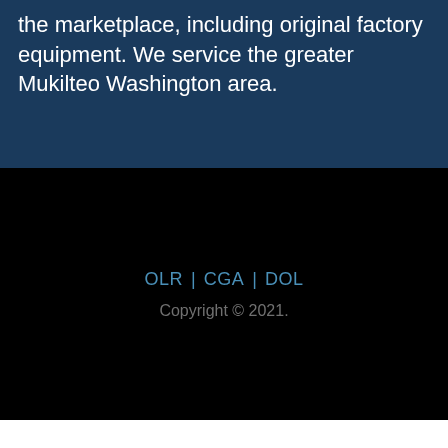the marketplace, including original factory equipment. We service the greater Mukilteo Washington area.
OLR | CGA | DOL
Copyright © 2021.